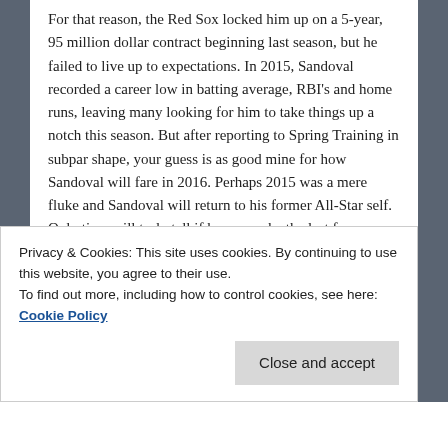For that reason, the Red Sox locked him up on a 5-year, 95 million dollar contract beginning last season, but he failed to live up to expectations. In 2015, Sandoval recorded a career low in batting average, RBI's and home runs, leaving many looking for him to take things up a notch this season. But after reporting to Spring Training in subpar shape, your guess is as good mine for how Sandoval will fare in 2016. Perhaps 2015 was a mere fluke and Sandoval will return to his former All-Star self. Only time will truly tell if he can make the last four years of his contract worth the Red Sox while. But with the Red Sox looking to make another playoff push in 2016, Sandoval needs to be a big part of their team.
Privacy & Cookies: This site uses cookies. By continuing to use this website, you agree to their use.
To find out more, including how to control cookies, see here: Cookie Policy
Close and accept